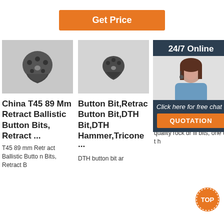[Figure (other): Orange 'Get Price' button]
[Figure (photo): Drill bit product photo 1 - T45 89mm Retract Ballistic Button Bit]
[Figure (photo): Drill bit product photo 2 - Button Bit, DTH Bit]
[Figure (photo): Drill bit product photo 3 - T5x series]
[Figure (infographic): 24/7 Online customer service overlay with agent photo, 'Click here for free chat!' text, and QUOTATION button]
China T45 89 Mm Retract Ballistic Button Bits, Retract ...
T45 89 mm Retr act Ballistic Butto n Bits, Retract B
Button Bit,Retrac Button Bit,DTH Bit,DTH Hammer,Tricone ...
DTH button bit ar
T5... Th... Bu...
Rock drilling tools factory ProDrill manufactures hi gh quality rock dr ill bits, one of t h
[Figure (logo): Orange TOP badge/button in bottom right]